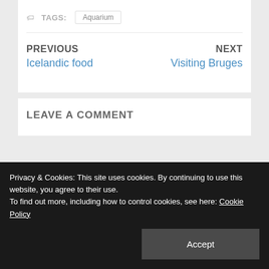TAGS: Aquarium
PREVIOUS
Icelandic food
NEXT
Visiting Bruges
LEAVE A COMMENT
Privacy & Cookies: This site uses cookies. By continuing to use this website, you agree to their use.
To find out more, including how to control cookies, see here: Cookie Policy